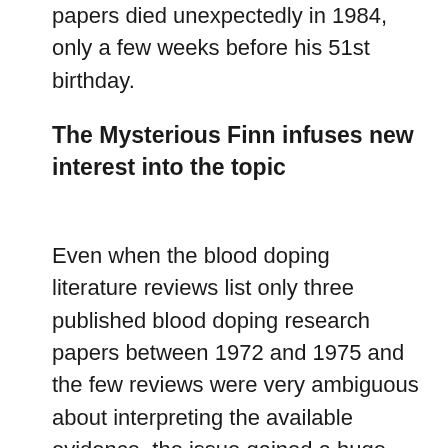papers died unexpectedly in 1984, only a few weeks before his 51st birthday.
The Mysterious Finn infuses new interest into the topic
Even when the blood doping literature reviews list only three published blood doping research papers between 1972 and 1975 and the few reviews were very ambiguous about interpreting the available evidence, the issue gained a huge amount of media attention in 1976. The first instance was when the Norwegian Olympic team wrote an official letter to the International Olympic Committee (IOC) warning them about the practice only a days before the